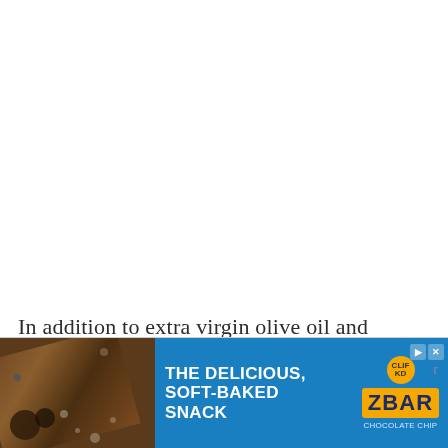In addition to extra virgin olive oil and kosher salt, here’s what you need to make the pasta:
[Figure (other): Advertisement banner for Clif Zbar 'The Delicious, Soft-Baked Snack' showing chocolate bars and the Zbar logo on a blue background]
•